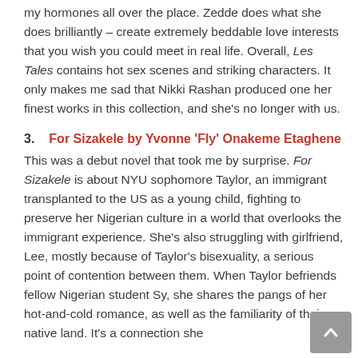my hormones all over the place. Zedde does what she does brilliantly – create extremely beddable love interests that you wish you could meet in real life. Overall, Les Tales contains hot sex scenes and striking characters. It only makes me sad that Nikki Rashan produced one her finest works in this collection, and she's no longer with us.
3.   For Sizakele by Yvonne 'Fly' Onakeme Etaghene
This was a debut novel that took me by surprise. For Sizakele is about NYU sophomore Taylor, an immigrant transplanted to the US as a young child, fighting to preserve her Nigerian culture in a world that overlooks the immigrant experience. She's also struggling with girlfriend, Lee, mostly because of Taylor's bisexuality, a serious point of contention between them. When Taylor befriends fellow Nigerian student Sy, she shares the pangs of her hot-and-cold romance, as well as the familiarity of their native land. It's a connection she